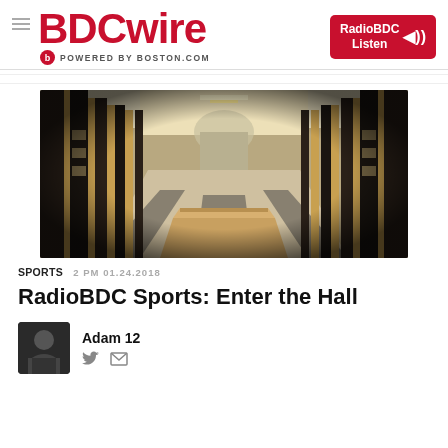BDCwire — POWERED BY BOSTON.COM — RadioBDC Listen
[Figure (photo): Wide-angle fisheye interior photo of a hall of fame corridor with dark columns, wood paneling, framed plaques on walls, and a central display case on a marble floor, viewed through a fisheye lens.]
SPORTS  2 PM 01.24.2018
RadioBDC Sports: Enter the Hall
Adam 12